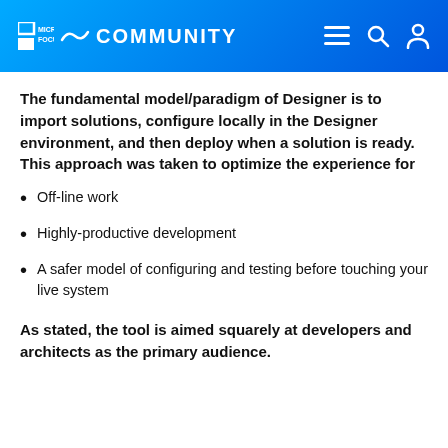MICRO FOCUS COMMUNITY
The fundamental model/paradigm of Designer is to import solutions, configure locally in the Designer environment, and then deploy when a solution is ready. This approach was taken to optimize the experience for
Off-line work
Highly-productive development
A safer model of configuring and testing before touching your live system
As stated, the tool is aimed squarely at developers and architects as the primary audience.